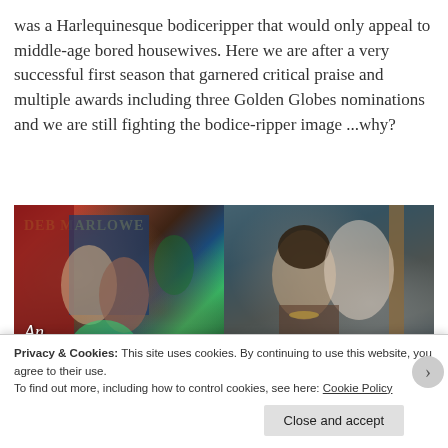was a Harlequinesque bodiceripper that would only appeal to middle-age bored housewives. Here we are after a very successful first season that garnered critical praise and multiple awards including three Golden Globes nominations and we are still fighting the bodice-ripper image ...why?
[Figure (photo): Two side-by-side images: left is a romance novel cover by Deb Marlowe titled 'An Improper' showing a couple in period costume embracing; right is a photo of a man and woman in an intimate pose, the woman with dark curly hair and the man in a white shirt.]
Privacy & Cookies: This site uses cookies. By continuing to use this website, you agree to their use.
To find out more, including how to control cookies, see here: Cookie Policy
Close and accept